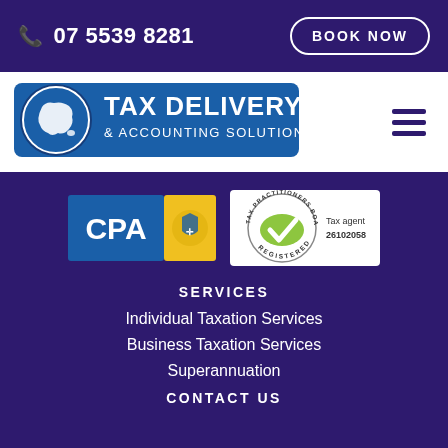07 5539 8281  |  BOOK NOW
[Figure (logo): Tax Delivery & Accounting Solutions logo with Australia map icon in blue circle]
[Figure (logo): CPA logo (blue and yellow) and Tax Practitioners Board Registered badge, Tax agent 26102058]
SERVICES
Individual Taxation Services
Business Taxation Services
Superannuation
CONTACT US